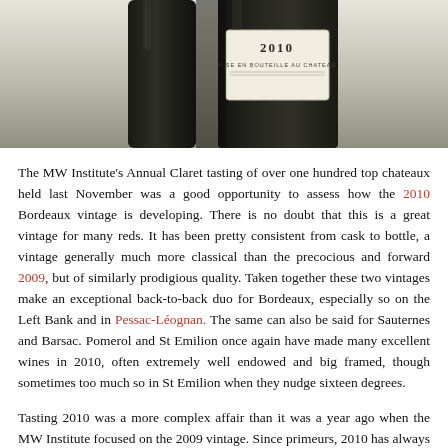[Figure (photo): Two dark wine bottles, one in the foreground on the left and one on the right showing a label reading '2010' and 'MISE EN BOUTEILLE AU CHATEAU', photographed against a light background.]
The MW Institute's Annual Claret tasting of over one hundred top chateaux held last November was a good opportunity to assess how the 2010 Bordeaux vintage is developing. There is no doubt that this is a great vintage for many reds. It has been pretty consistent from cask to bottle, a vintage generally much more classical than the precocious and forward 2009, but of similarly prodigious quality. Taken together these two vintages make an exceptional back-to-back duo for Bordeaux, especially so on the Left Bank and in Pessac-Léognan. The same can also be said for Sauternes and Barsac. Pomerol and St Emilion once again have made many excellent wines in 2010, often extremely well endowed and big framed, though sometimes too much so in St Emilion when they nudge sixteen degrees.
Tasting 2010 was a more complex affair than it was a year ago when the MW Institute focused on the 2009 vintage. Since primeurs, 2010 has always appeared to have much